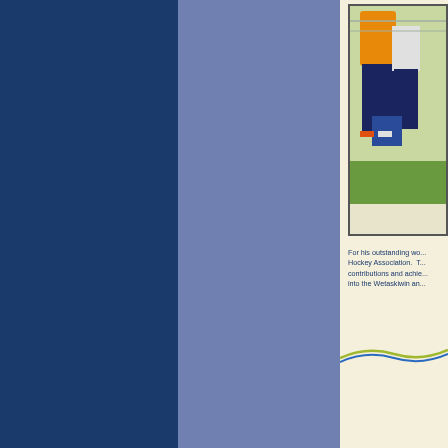[Figure (photo): Partial view of people standing outdoors, one person in a yellow/orange jacket, others in dark pants, on grass]
For his outstanding wo... Hockey Association.  T... contributions and achi... into the Wetaskiwin an...